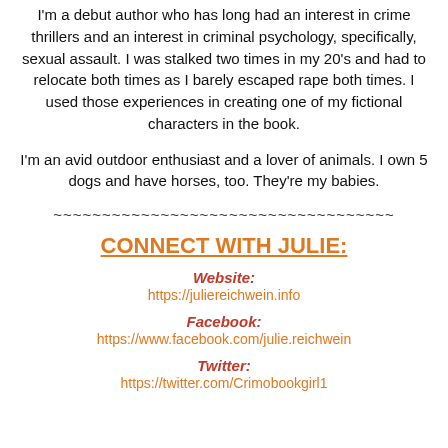I'm a debut author who has long had an interest in crime thrillers and an interest in criminal psychology, specifically, sexual assault. I was stalked two times in my 20's and had to relocate both times as I barely escaped rape both times. I used those experiences in creating one of my fictional characters in the book.
I'm an avid outdoor enthusiast and a lover of animals. I own 5 dogs and have horses, too. They're my babies.
~~~~~~~~~~~~~~~~~~~~~~~~~~~~~~~~~~~
CONNECT WITH JULIE:
Website:
https://juliereichwein.info
Facebook:
https://www.facebook.com/julie.reichwein
Twitter:
https://twitter.com/Crimobookgirl1